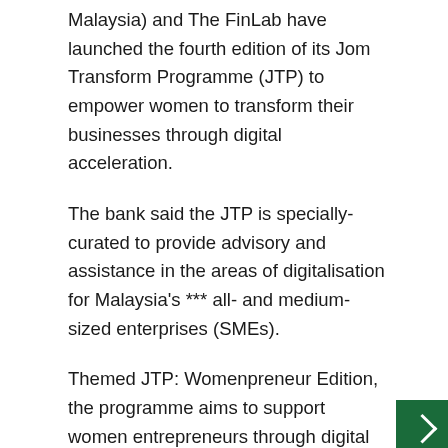Malaysia) and The FinLab have launched the fourth edition of its Jom Transform Programme (JTP) to empower women to transform their businesses through digital acceleration.
The bank said the JTP is specially-curated to provide advisory and assistance in the areas of digitalisation for Malaysia's *** all- and medium-sized enterprises (SMEs).
Themed JTP: Womenpreneur Edition, the programme aims to support women entrepreneurs through digital solutions that drive productivity, save costs and grow revenue.
“With women entrepreneurs making up only 20% of Malaysian SMEs, we see potential in supporting female-led businesses to thrive, particularly in e-commerce5. And this is why the Bank is creating an ecosystem through JT